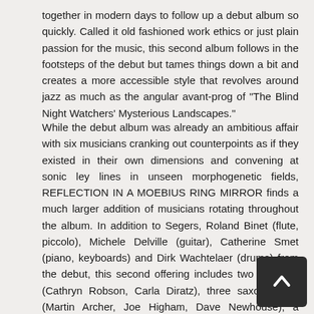together in modern days to follow up a debut album so quickly. Called it old fashioned work ethics or just plain passion for the music, this second album follows in the footsteps of the debut but tames things down a bit and creates a more accessible style that revolves around jazz as much as the angular avant-prog of "The Blind Night Watchers' Mysterious Landscapes."
While the debut album was already an ambitious affair with six musicians cranking out counterpoints as if they existed in their own dimensions and convening at sonic ley lines in unseen morphogenetic fields, REFLECTION IN A MOEBIUS RING MIRROR finds a much larger addition of musicians rotating throughout the album. In addition to Segers, Roland Binet (flute, piccolo), Michele Delville (guitar), Catherine Smet (piano, keyboards) and Dirk Wachtelaer (drums) from the debut, this second offering includes two vocalists (Cathryn Robson, Carla Diratz), three saxophonists (Martin Archer, Joe Higham, Dave Newhouse), a trumpetist (Jean-Pierre Suarez), a violinist (Arlane Plumerai), a cellist (Sigrid Vandenbogaerden), more guitarists (Eric Lemaître, Angel Ontalva) and a second drummer (Frank Balestracci). Many of theses musicians also play seco instruments which include clarinet, keyboards and electronic Whoah! Despite such a full house, this album never seems t